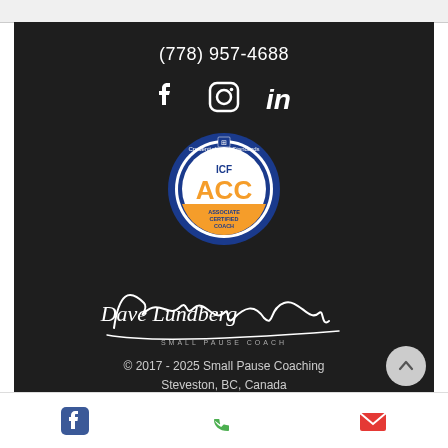(778) 957-4688
[Figure (infographic): Social media icons: Facebook, Instagram, LinkedIn in white on dark background]
[Figure (logo): ICF ACC Associate Certified Coach badge/seal - blue and orange circular credential badge]
[Figure (illustration): Dave Lundberg Small Pause Coach signature in cursive script]
© 2017 - 2025 Small Pause Coaching
Steveston, BC, Canada
[Figure (logo): ICF Member International badge/seal - teal and white circular badge]
[Figure (infographic): Bottom navigation bar with Facebook icon, phone icon, and email icon]